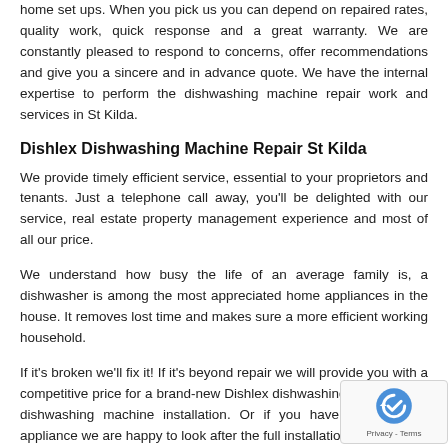home set ups. When you pick us you can depend on repaired rates, quality work, quick response and a great warranty. We are constantly pleased to respond to concerns, offer recommendations and give you a sincere and in advance quote. We have the internal expertise to perform the dishwashing machine repair work and services in St Kilda.
Dishlex Dishwashing Machine Repair St Kilda
We provide timely efficient service, essential to your proprietors and tenants. Just a telephone call away, you'll be delighted with our service, real estate property management experience and most of all our price.
We understand how busy the life of an average family is, a dishwasher is among the most appreciated home appliances in the house. It removes lost time and makes sure a more efficient working household.
If it's broken we'll fix it! If it's beyond repair we will provide you with a competitive price for a brand-new Dishlex dishwashing machine and dishwashing machine installation. Or if you have a brand-new appliance we are happy to look after the full installation.
You may also want to read our service and our established list...